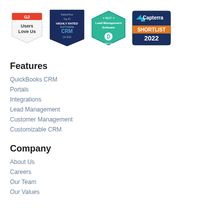[Figure (logo): Four award badges in a row: G2 Users Love Us, SalesHive Top 20 Highly Rated CRM Software, Best Lead Management Software (Digital.com), Capterra Shortlist 2022]
Features
QuickBooks CRM
Portals
Integrations
Lead Management
Customer Management
Customizable CRM
Company
About Us
Careers
Our Team
Our Values